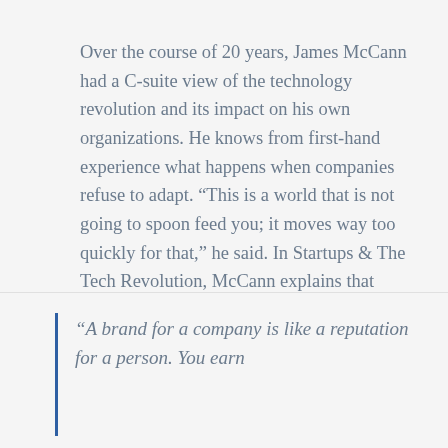Over the course of 20 years, James McCann had a C-suite view of the technology revolution and its impact on his own organizations. He knows from first-hand experience what happens when companies refuse to adapt. “This is a world that is not going to spoon feed you; it moves way too quickly for that,” he said. In Startups & The Tech Revolution, McCann explains that companies that are not prepared for the current technological paradigm and employees who are unwilling to retrain or upskill are exposed to unprecedented risk.
“A brand for a company is like a reputation for a person. You earn